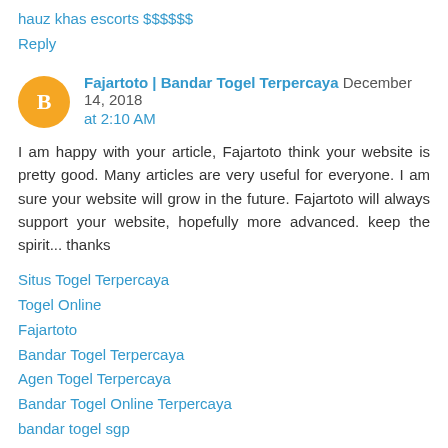hauz khas escorts $$$$$$
Reply
Fajartoto | Bandar Togel Terpercaya December 14, 2018 at 2:10 AM
I am happy with your article, Fajartoto think your website is pretty good. Many articles are very useful for everyone. I am sure your website will grow in the future. Fajartoto will always support your website, hopefully more advanced. keep the spirit... thanks
Situs Togel Terpercaya
Togel Online
Fajartoto
Bandar Togel Terpercaya
Agen Togel Terpercaya
Bandar Togel Online Terpercaya
bandar togel sgp
Situs Casino Online
Prediksi Hongkong
Syair Togel Hk